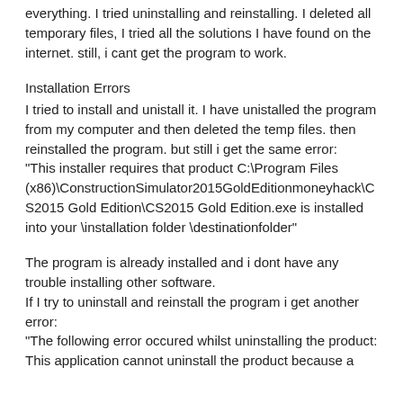everything. I tried uninstalling and reinstalling. I deleted all temporary files, I tried all the solutions I have found on the internet. still, i cant get the program to work.
Installation Errors
I tried to install and unistall it. I have unistalled the program from my computer and then deleted the temp files. then reinstalled the program. but still i get the same error: "This installer requires that product C:\Program Files (x86)\ConstructionSimulator2015GoldEditionmoneyhack\CS2015 Gold Edition\CS2015 Gold Edition.exe is installed into your \installation folder \destinationfolder"
The program is already installed and i dont have any trouble installing other software.
If I try to uninstall and reinstall the program i get another error:
"The following error occured whilst uninstalling the product:
This application cannot uninstall the product because a